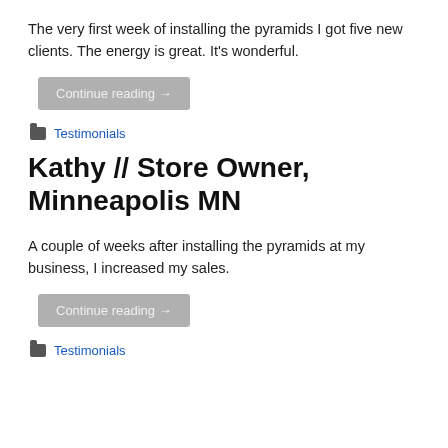The very first week of installing the pyramids I got five new clients. The energy is great. It's wonderful.
Continue reading →
Testimonials
Kathy // Store Owner, Minneapolis MN
A couple of weeks after installing the pyramids at my business, I increased my sales.
Continue reading →
Testimonials